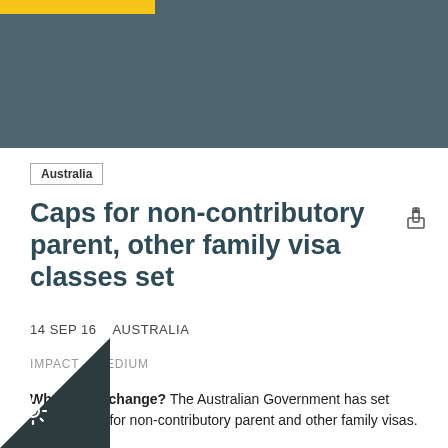Australia
Caps for non-contributory parent, other family visa classes set
14 SEP 16   AUSTRALIA
IMPACT – MEDIUM
What is the change? The Australian Government has set annual caps for non-contributory parent and other family visas.